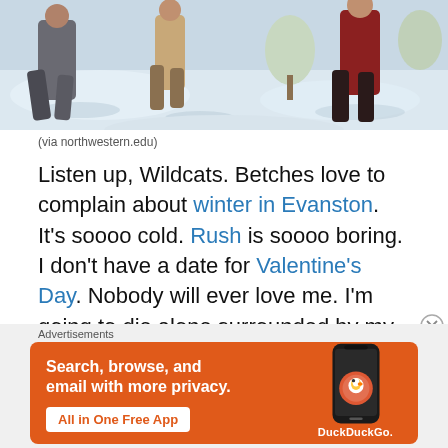[Figure (photo): People walking on a snowy path in winter, wearing winter coats. Snow is visible on the ground and trees.]
(via northwestern.edu)
Listen up, Wildcats. Betches love to complain about winter in Evanston. It's soooo cold. Rush is soooo boring. I don't have a date for Valentine's Day. Nobody will ever love me. I'm going to die alone surrounded by my cats and McKinsey and Company employee of the month awards. The passage near Kellogg is like totally a wind tunnel. I
[Figure (screenshot): DuckDuckGo advertisement banner. Orange background with text: Search, browse, and email with more privacy. All in One Free App. Shows a phone with DuckDuckGo logo.]